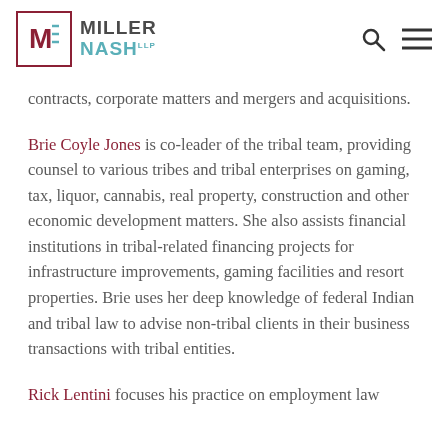Miller Nash LLP
contracts, corporate matters and mergers and acquisitions.
Brie Coyle Jones is co-leader of the tribal team, providing counsel to various tribes and tribal enterprises on gaming, tax, liquor, cannabis, real property, construction and other economic development matters. She also assists financial institutions in tribal-related financing projects for infrastructure improvements, gaming facilities and resort properties. Brie uses her deep knowledge of federal Indian and tribal law to advise non-tribal clients in their business transactions with tribal entities.
Rick Lentini focuses his practice on employment law